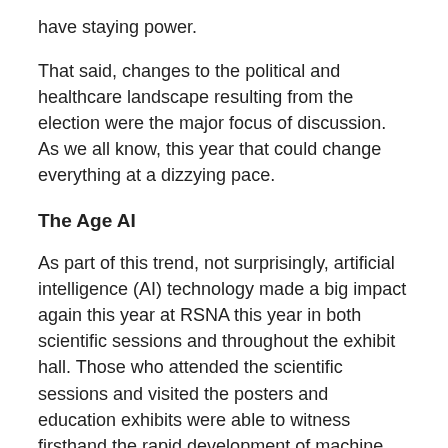have staying power.
That said, changes to the political and healthcare landscape resulting from the election were the major focus of discussion.  As we all know, this year that could change everything at a dizzying pace.
The Age AI
As part of this trend, not surprisingly, artificial intelligence (AI) technology made a big impact again this year at RSNA this year in both scientific sessions and throughout the exhibit hall. Those who attended the scientific sessions and visited the posters and education exhibits were able to witness firsthand the rapid development of machine learning — particularly deep learning — for a wide range of radiology applications. Researchers presented data on how machine learning